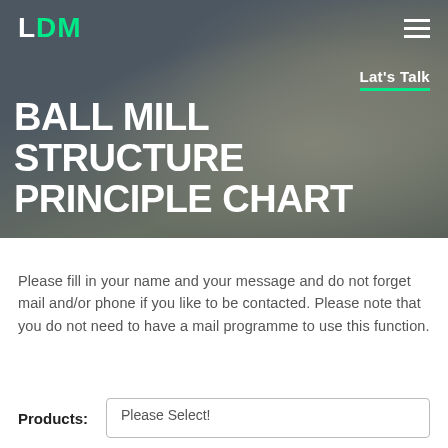LDM
BALL MILL STRUCTURE PRINCIPLE CHART
Please fill in your name and your message and do not forget mail and/or phone if you like to be contacted. Please note that you do not need to have a mail programme to use this function.
Products: Please Select!